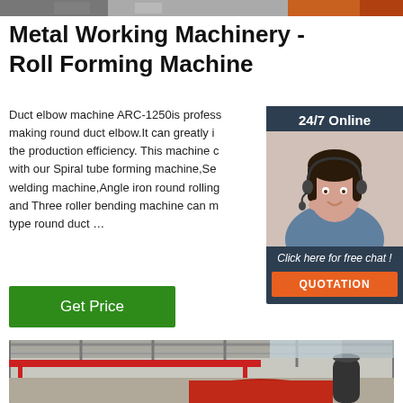[Figure (photo): Top portion of machinery or warehouse image, partially cropped at top]
Metal Working Machinery - Roll Forming Machine
Duct elbow machine ARC-1250is professionally making round duct elbow.It can greatly improve the production efficiency. This machine can work with our Spiral tube forming machine,Seam welding machine,Angle iron round rolling machine and Three roller bending machine can make all type round duct …
[Figure (photo): Customer service agent with headset, 24/7 Online chat widget overlay with dark background, click here for free chat text, and orange QUOTATION button]
Get Price
[Figure (photo): Factory or workshop interior showing overhead crane and machinery, bottom portion of page]